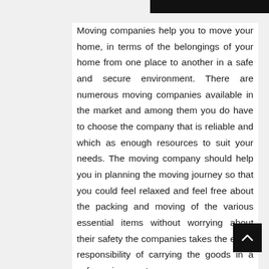[Figure (photo): Partial image visible at top, mostly covered by black bar]
Moving companies help you to move your home, in terms of the belongings of your home from one place to another in a safe and secure environment. There are numerous moving companies available in the market and among them you do have to choose the company that is reliable and which as enough resources to suit your needs. The moving company should help you in planning the moving journey so that you could feel relaxed and feel free about the packing and moving of the various essential items without worrying about their safety the companies takes the entire responsibility of carrying the goods in a safe environment.